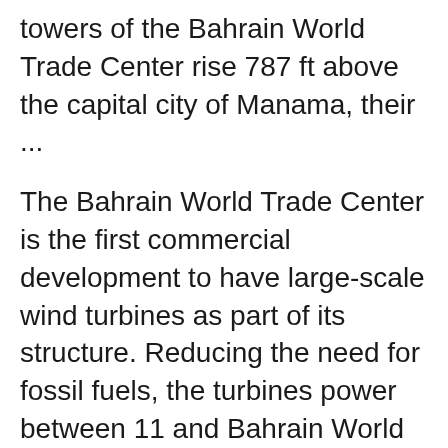towers of the Bahrain World Trade Center rise 787 ft above the capital city of Manama, their ...
The Bahrain World Trade Center is the first commercial development to have large-scale wind turbines as part of its structure. Reducing the need for fossil fuels, the turbines power between 11 and Bahrain World Trade Center Manama, Bahrain. The sail-shaped towers of the Bahrain World Trade Center rise 787 ft above the capital city of Manama, their ...
Download Presentation Bahrain World Trade Center An Image/Link below is provided (as is) to download